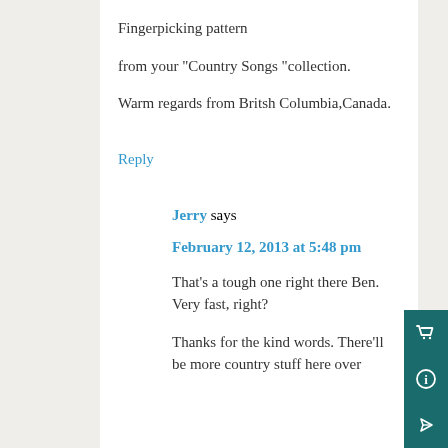Fingerpicking pattern
from your “Country Songs “collection.
Warm regards from Britsh Columbia,Canada.
Reply
Jerry says
February 12, 2013 at 5:48 pm
That’s a tough one right there Ben. Very fast, right?
Thanks for the kind words. There’ll be more country stuff here over